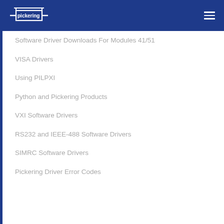[Figure (logo): Pickering Interfaces logo on dark blue navigation bar with hamburger menu icon]
Software Driver Downloads For Modules 41/51
VISA Drivers
Using PILPXI
Python and Pickering Products
VXI Software Drivers
RS232 and IEEE-488 Software Drivers
SIMRC Software Drivers
Pickering Driver Error Codes